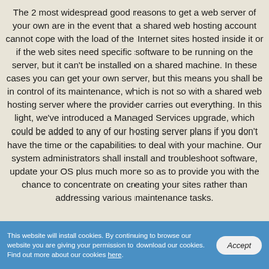The 2 most widespread good reasons to get a web server of your own are in the event that a shared web hosting account cannot cope with the load of the Internet sites hosted inside it or if the web sites need specific software to be running on the server, but it can't be installed on a shared machine. In these cases you can get your own server, but this means you shall be in control of its maintenance, which is not so with a shared web hosting server where the provider carries out everything. In this light, we've introduced a Managed Services upgrade, which could be added to any of our hosting server plans if you don't have the time or the capabilities to deal with your machine. Our system administrators shall install and troubleshoot software, update your OS plus much more so as to provide you with the chance to concentrate on creating your sites rather than addressing various maintenance tasks.
This website will install cookies. By continuing to browse our website you are giving your permission to download our cookies. Find out more about our cookies here.